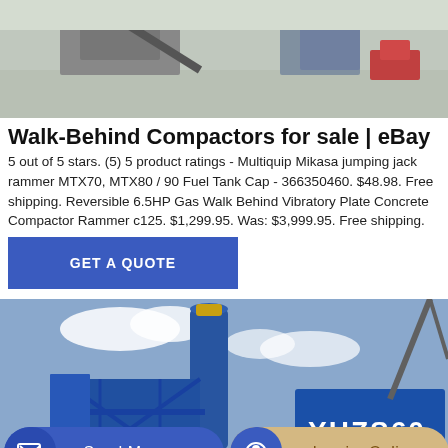[Figure (photo): Aerial/ground view of industrial compactor or concrete equipment at a construction site, with metal structures and machinery visible.]
Walk-Behind Compactors for sale | eBay
5 out of 5 stars. (5) 5 product ratings - Multiquip Mikasa jumping jack rammer MTX70, MTX80 / 90 Fuel Tank Cap - 366350460. $48.98. Free shipping. Reversible 6.5HP Gas Walk Behind Vibratory Plate Concrete Compactor Rammer c125. $1,299.95. Was: $3,999.95. Free shipping.
GET A QUOTE
[Figure (photo): Blue industrial concrete batching plant (YHZS60) with silos, framework, and cranes against a cloudy sky.]
Send Message
Inquiry Online